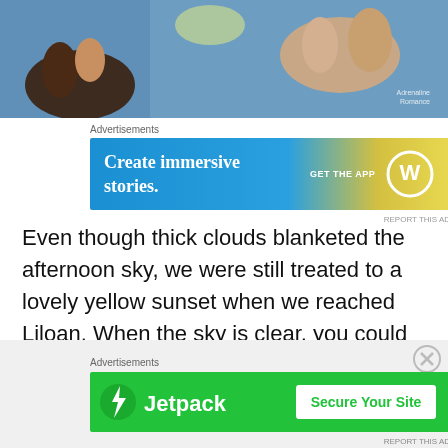[Figure (photo): Close-up photo of hands holding objects over a blue dotted surface, with a watermark logo in bottom right corner]
Advertisements
[Figure (other): WordPress advertisement banner: 'Create immersive stories. GET THE APP' with WordPress logo]
Even though thick clouds blanketed the afternoon sky, we were still treated to a lovely yellow sunset when we reached Liloan. When the sky is clear, you could see hues of orange, red, purple, and pink when the sun says goodbye to the day.
Advertisements
[Figure (other): Jetpack advertisement banner: 'Jetpack — Secure Your Site' on green background]